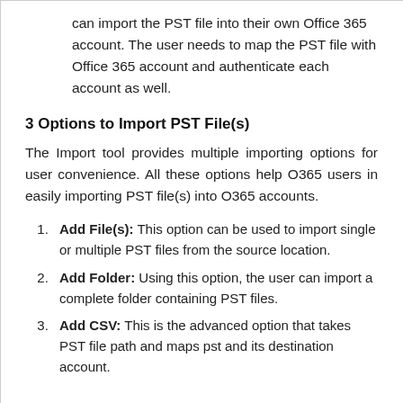can import the PST file into their own Office 365 account. The user needs to map the PST file with Office 365 account and authenticate each account as well.
3 Options to Import PST File(s)
The Import tool provides multiple importing options for user convenience. All these options help O365 users in easily importing PST file(s) into O365 accounts.
Add File(s): This option can be used to import single or multiple PST files from the source location.
Add Folder: Using this option, the user can import a complete folder containing PST files.
Add CSV: This is the advanced option that takes PST file path and maps pst and its destination account.